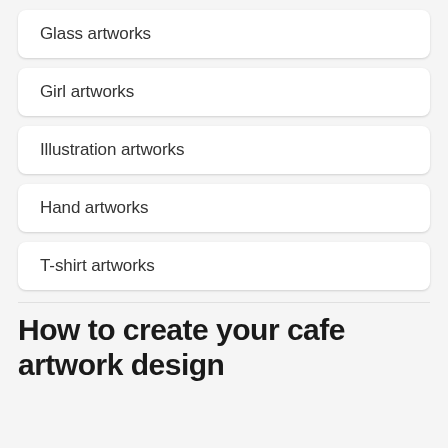Glass artworks
Girl artworks
Illustration artworks
Hand artworks
T-shirt artworks
How to create your cafe artwork design